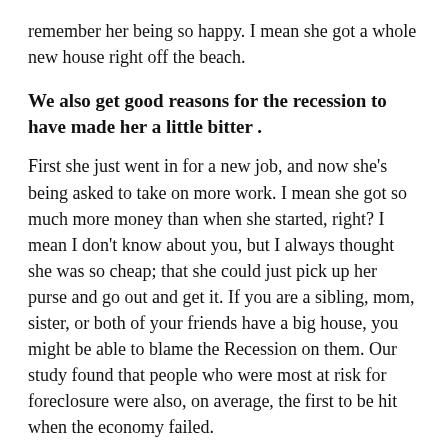remember her being so happy. I mean she got a whole new house right off the beach.
We also get good reasons for the recession to have made her a little bitter .
First she just went in for a new job, and now she's being asked to take on more work. I mean she got so much more money than when she started, right? I mean I don't know about you, but I always thought she was so cheap; that she could just pick up her purse and go out and get it. If you are a sibling, mom, sister, or both of your friends have a big house, you might be able to blame the Recession on them. Our study found that people who were most at risk for foreclosure were also, on average, the first to be hit when the economy failed.